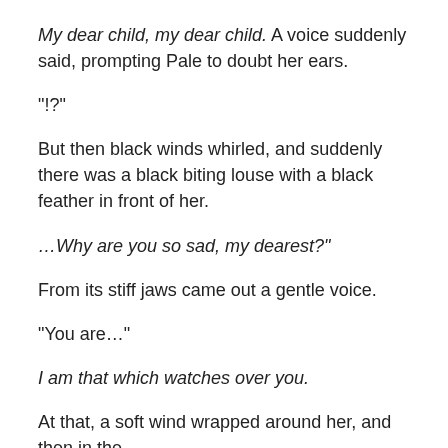My dear child, my dear child. A voice suddenly said, prompting Pale to doubt her ears.
“!?”
But then black winds whirled, and suddenly there was a black biting louse with a black feather in front of her.
…Why are you so sad, my dearest?”
From its stiff jaws came out a gentle voice.
“You are…”
I am that which watches over you.
At that, a soft wind wrapped around her, and then in the